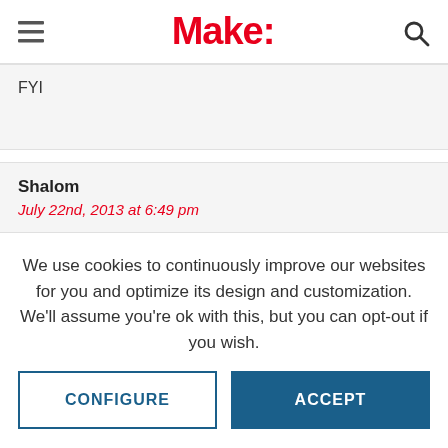Make:
FYI
Shalom
July 22nd, 2013 at 6:49 pm
We use cookies to continuously improve our websites for you and optimize its design and customization.
We'll assume you're ok with this, but you can opt-out if you wish.
CONFIGURE
ACCEPT